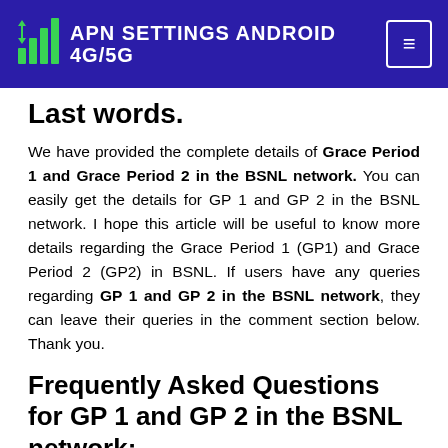APN SETTINGS ANDROID 4G/5G
Last words.
We have provided the complete details of Grace Period 1 and Grace Period 2 in the BSNL network. You can easily get the details for GP 1 and GP 2 in the BSNL network. I hope this article will be useful to know more details regarding the Grace Period 1 (GP1) and Grace Period 2 (GP2) in BSNL. If users have any queries regarding GP 1 and GP 2 in the BSNL network, they can leave their queries in the comment section below. Thank you.
Frequently Asked Questions for GP 1 and GP 2 in the BSNL network: